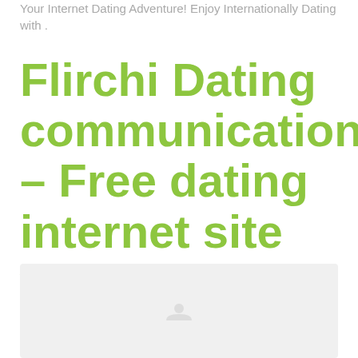Your Internet Dating Adventure! Enjoy Internationally Dating with .
Flirchi Dating communications – Free dating internet site without any subscribe
[Figure (photo): A placeholder image or photo at the bottom of the page, light gray background with a faint icon in the center.]